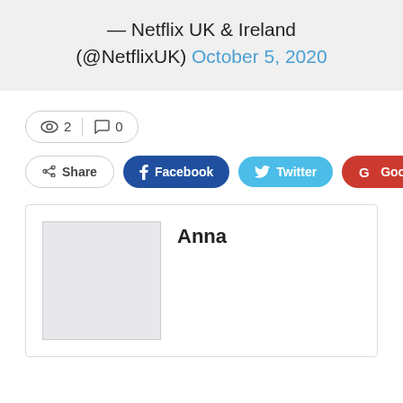— Netflix UK & Ireland (@NetflixUK) October 5, 2020
👁 2  💬 0
Share  Facebook  Twitter  Google+
Anna